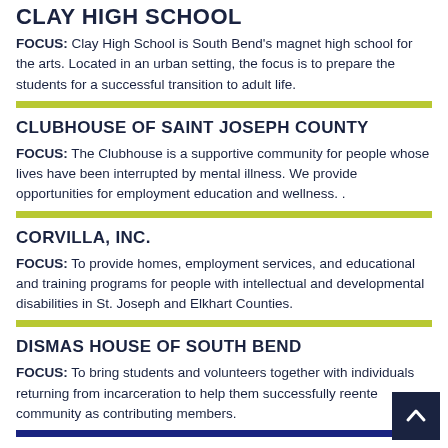CLAY HIGH SCHOOL (partial)
FOCUS: Clay High School is South Bend's magnet high school for the arts. Located in an urban setting, the focus is to prepare the students for a successful transition to adult life.
CLUBHOUSE OF SAINT JOSEPH COUNTY
FOCUS: The Clubhouse is a supportive community for people whose lives have been interrupted by mental illness. We provide opportunities for employment education and wellness. .
CORVILLA, INC.
FOCUS: To provide homes, employment services, and educational and training programs for people with intellectual and developmental disabilities in St. Joseph and Elkhart Counties.
DISMAS HOUSE OF SOUTH BEND
FOCUS: To bring students and volunteers together with individuals returning from incarceration to help them successfully reente community as contributing members.